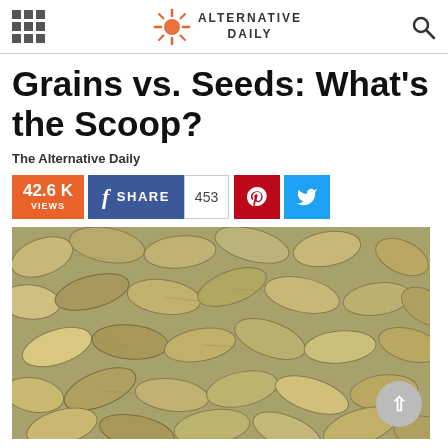Alternative Daily
Grains vs. Seeds: What's the Scoop?
The Alternative Daily
42.6 K VIEWS  SHARE 453
[Figure (photo): Close-up photograph of many pumpkin seeds (pepitas) spread together, showing their oval shape and tan/olive coloring]